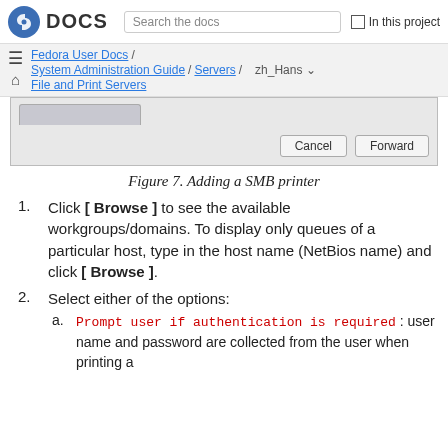DOCS | Search the docs | In this project
Fedora User Docs / System Administration Guide / Servers / File and Print Servers | zh_Hans
[Figure (screenshot): Dialog box screenshot showing a tab area and Cancel/Forward buttons at bottom right]
Figure 7. Adding a SMB printer
Click [ Browse ] to see the available workgroups/domains. To display only queues of a particular host, type in the host name (NetBios name) and click [ Browse ].
Select either of the options:
Prompt user if authentication is required : user name and password are collected from the user when printing a